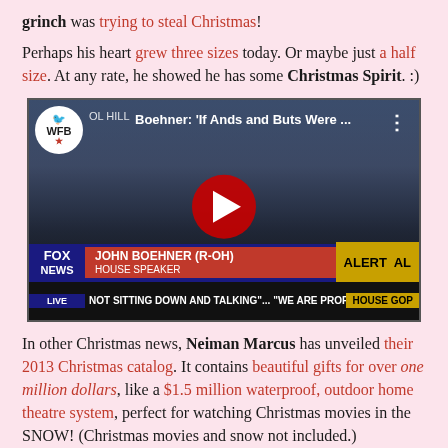grinch was trying to steal Christmas!
Perhaps his heart grew three sizes today. Or maybe just a half size. At any rate, he showed he has some Christmas Spirit. :)
[Figure (screenshot): YouTube video screenshot showing Fox News coverage of John Boehner (R-OH), House Speaker, with WFB logo, red play button, Fox News lower-third banner reading 'JOHN BOEHNER (R-OH) HOUSE SPEAKER', ticker text 'NOT SITTING DOWN AND TALKING"... "WE ARE PROPO', and 'HOUSE GOP' alert box.]
In other Christmas news, Neiman Marcus has unveiled their 2013 Christmas catalog. It contains beautiful gifts for over one million dollars, like a $1.5 million waterproof, outdoor home theatre system, perfect for watching Christmas movies in the SNOW! (Christmas movies and snow not included.)